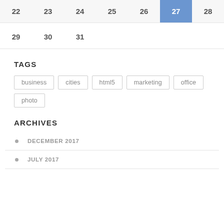| 22 | 23 | 24 | 25 | 26 | 27 | 28 |
| --- | --- | --- | --- | --- | --- | --- |
| 29 | 30 | 31 |  |  |  |  |
TAGS
business
cities
html5
marketing
office
photo
ARCHIVES
DECEMBER 2017
JULY 2017